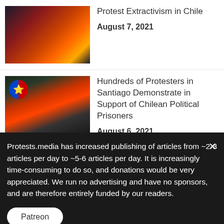[Figure (photo): Burning building with fire and smoke]
Protest Extractivism in Chile
August 7, 2021
[Figure (photo): Night protest scene with flag badge overlay]
Hundreds of Protesters in Santiago Demonstrate in Support of Chilean Political Prisoners
August 6, 2021
[Figure (photo): Road blocked by smoke and fire]
Dozens of Artisanal Fishers Across Chile Protest for State Aid
August 5, 2021
Protests.media has increased publishing of articles from ~2-3 articles per day to ~5-6 articles per day. It is increasingly time-consuming to do so, and donations would be very appreciated. We run no advertising and have no sponsors, and are therefore entirely funded by our readers.
Patreon